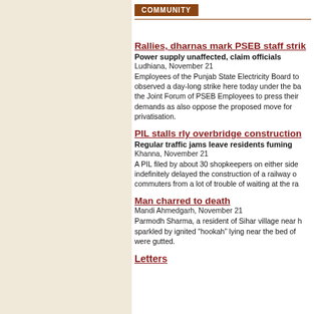COMMUNITY
Rallies, dharnas mark PSEB staff strik
Power supply unaffected, claim officials
Ludhiana, November 21
Employees of the Punjab State Electricity Board to observed a day-long strike here today under the ba the Joint Forum of PSEB Employees to press their demands as also oppose the proposed move for privatisation.
PIL stalls rly overbridge construction
Regular traffic jams leave residents fuming
Khanna, November 21
A PIL filed by about 30 shopkeepers on either side indefinitely delayed the construction of a railway o commuters from a lot of trouble of waiting at the ra
Man charred to death
Mandi Ahmedgarh, November 21
Parmodh Sharma, a resident of Sihar village near h sparkled by ignited “hookah” lying near the bed of were gutted.
Letters